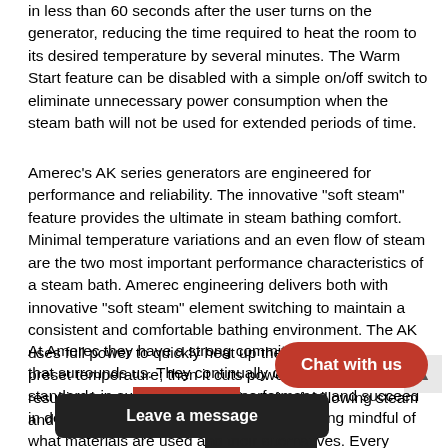in less than 60 seconds after the user turns on the generator, reducing the time required to heat the room to its desired temperature by several minutes. The Warm Start feature can be disabled with a simple on/off switch to eliminate unnecessary power consumption when the steam bath will not be used for extended periods of time.
Amerec's AK series generators are engineered for performance and reliability. The innovative "soft steam" feature provides the ultimate in steam bathing comfort. Minimal temperature variations and an even flow of steam are the two most important performance characteristics of a steam bath. Amerec engineering delivers both with innovative "soft steam" element switching to maintain a consistent and comfortable bathing environment. The AK uses full power to quickly heat up the steam room to its preset temperature; then it cuts power to half its elements, resulting in a more consistent flow of soft billowing steam and more stable temperature.
At Amerec they have a strong commitment to the nature that surrounds us. They continually challenge industry standards in sustainability and performance and succeed in delivering products that perform at the top while being mindful of what materials are used and their alternatives. Every home is different and Amerec create your custom steam so... easy as